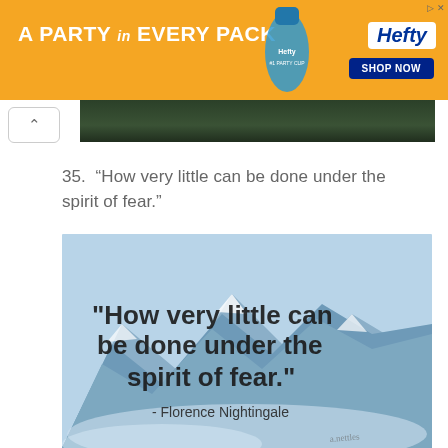[Figure (photo): Orange Hefty advertisement banner: 'A PARTY in EVERY PACK' with Hefty #1 Party Cup bottle image and SHOP NOW button]
[Figure (photo): Partial dark forest/trees photo visible at top as previous scrolled image]
35.  “How very little can be done under the spirit of fear.”
[Figure (photo): Quote image over snowy mountain background: '"How very little can be done under the spirit of fear." - Florence Nightingale']